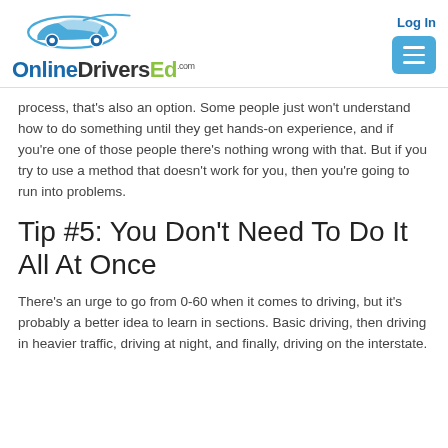[Figure (logo): OnlineDriversEd.com logo with car icon and stylized text]
process, that's also an option. Some people just won't understand how to do something until they get hands-on experience, and if you're one of those people there's nothing wrong with that. But if you try to use a method that doesn't work for you, then you're going to run into problems.
Tip #5: You Don't Need To Do It All At Once
There's an urge to go from 0-60 when it comes to driving, but it's probably a better idea to learn in sections. Basic driving, then driving in heavier traffic, driving at night, and finally, driving on the interstate.